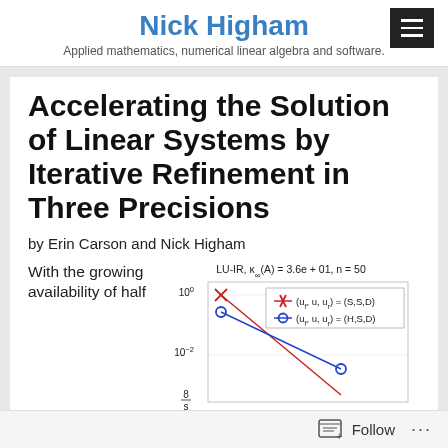Nick Higham
Applied mathematics, numerical linear algebra and software.
Accelerating the Solution of Linear Systems by Iterative Refinement in Three Precisions
by Erin Carson and Nick Higham
With the growing availability of half
[Figure (line-chart): LU-IR, κ∞(A) = 3.6e+01, n = 50]
Follow ...